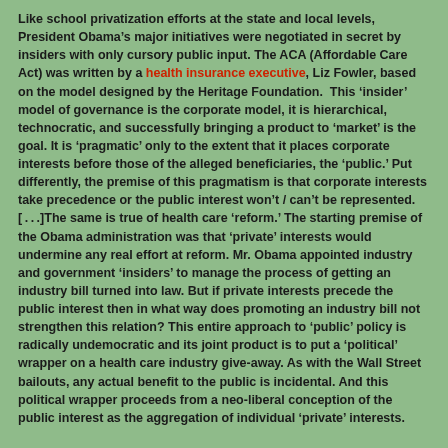Like school privatization efforts at the state and local levels, President Obama's major initiatives were negotiated in secret by insiders with only cursory public input. The ACA (Affordable Care Act) was written by a health insurance executive, Liz Fowler, based on the model designed by the Heritage Foundation. This 'insider' model of governance is the corporate model, it is hierarchical, technocratic, and successfully bringing a product to 'market' is the goal. It is 'pragmatic' only to the extent that it places corporate interests before those of the alleged beneficiaries, the 'public.' Put differently, the premise of this pragmatism is that corporate interests take precedence or the public interest won't / can't be represented. [. . .]The same is true of health care 'reform.' The starting premise of the Obama administration was that 'private' interests would undermine any real effort at reform. Mr. Obama appointed industry and government 'insiders' to manage the process of getting an industry bill turned into law. But if private interests precede the public interest then in what way does promoting an industry bill not strengthen this relation? This entire approach to 'public' policy is radically undemocratic and its joint product is to put a 'political' wrapper on a health care industry give-away. As with the Wall Street bailouts, any actual benefit to the public is incidental. And this political wrapper proceeds from a neo-liberal conception of the public interest as the aggregation of individual 'private' interests.